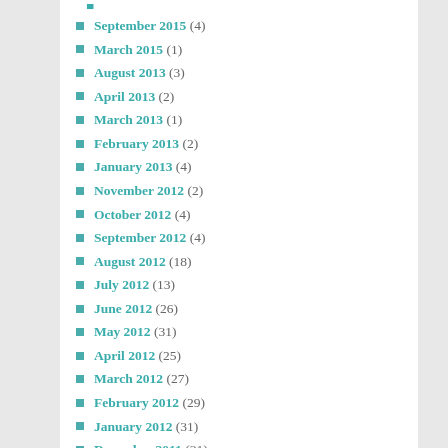September 2015 (4)
March 2015 (1)
August 2013 (3)
April 2013 (2)
March 2013 (1)
February 2013 (2)
January 2013 (4)
November 2012 (2)
October 2012 (4)
September 2012 (4)
August 2012 (18)
July 2012 (13)
June 2012 (26)
May 2012 (31)
April 2012 (25)
March 2012 (27)
February 2012 (29)
January 2012 (31)
December 2011 (31)
November 2011 (29)
October 2011 (31)